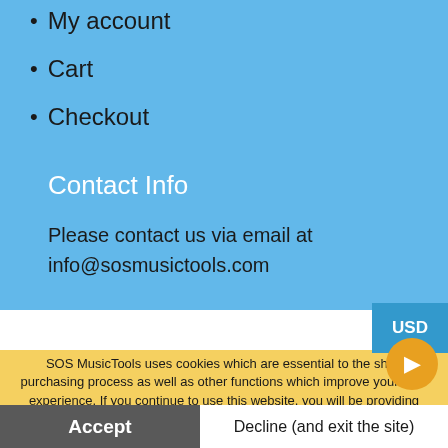My account
Cart
Checkout
Contact Info
Please contact us via email at info@sosmusictools.com
Help
SOS MusicTools uses cookies which are essential to the shop purchasing process as well as other functions which improve your user experience. If you continue to use this website, you will be providing consent to our use of cookies. Privacy Policy
Accept
Decline (and exit the site)